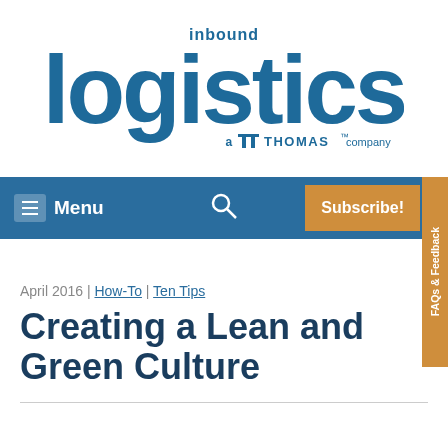[Figure (logo): Inbound Logistics logo - blue text with 'inbound' above large 'logistics' wordmark, 'a THOMAS company' subtitle]
Menu | Search | Subscribe! | FAQs & Feedback
April 2016 | How-To | Ten Tips
Creating a Lean and Green Culture